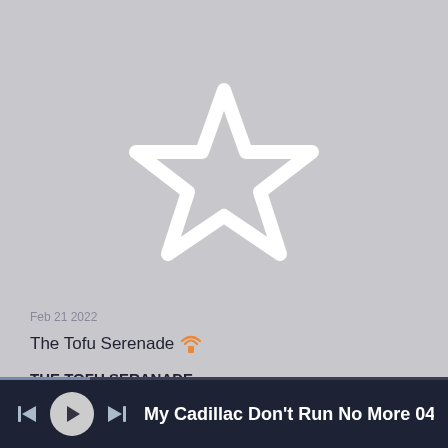[Figure (illustration): Large white outlined star icon on grey background, centered in upper portion of the screen]
Feb 21 2022
The Tofu Serenade
THE TOFU SERANADE
Maybe now you could never conceive,
That there'd ever be a food that would go with everything,
I know that you would never believe,
That there'd ever be a food, that could taste like
My Cadillac Don't Run No More 04092022